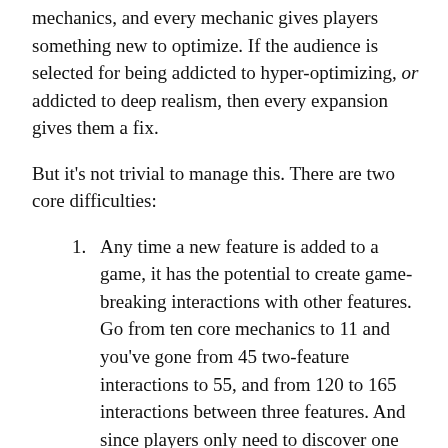mechanics, and every mechanic gives players something new to optimize. If the audience is selected for being addicted to hyper-optimizing, or addicted to deep realism, then every expansion gives them a fix.
But it's not trivial to manage this. There are two core difficulties:
Any time a new feature is added to a game, it has the potential to create game-breaking interactions with other features. Go from ten core mechanics to 11 and you've gone from 45 two-feature interactions to 55, and from 120 to 165 interactions between three features. And since players only need to discover one way to conquer the exponential expansion barriers, each expansion raises the odds of ruining the experience by creating a single dominant